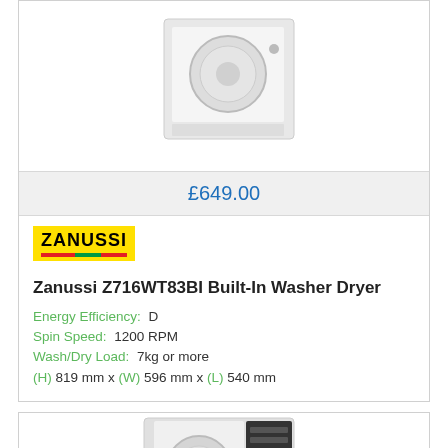[Figure (photo): Zanussi Z716WT83BI Built-In Washer Dryer product photo, white appliance on white background]
£649.00
[Figure (logo): Zanussi yellow logo with colored stripe underneath]
Zanussi Z716WT83BI Built-In Washer Dryer
Energy Efficiency: D
Spin Speed: 1200 RPM
Wash/Dry Load: 7kg or more
(H) 819 mm x (W) 596 mm x (L) 540 mm
[Figure (photo): AEG washer dryer product photo, white appliance with dark control panel]
Request a Quote or Call Back